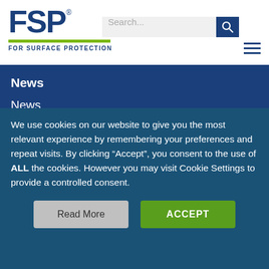[Figure (logo): FSP logo with blue letters, green underline bar, and tagline FOR SURFACE PROTECTION]
Search...
News
News
Articles
Releases
Videos
We use cookies on our website to give you the most relevant experience by remembering your preferences and repeat visits. By clicking “Accept”, you consent to the use of ALL the cookies. However you may visit Cookie Settings to provide a controlled consent.
Read More
ACCEPT